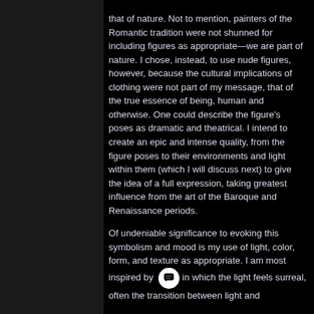that of nature. Not to mention, painters of the Romantic tradition were not shunned for including figures as appropriate—we are part of nature. I chose, instead, to use nude figures, however, because the cultural implications of clothing were not part of my message, that of the true essence of being, human and otherwise. One could describe the figure's poses as dramatic and theatrical. I intend to create an epic and intense quality, from the figure poses to their environments and light within them (which I will discuss next) to give the idea of a full expression, taking greatest influence from the art of the Baroque and Renaissance periods.

Of undeniable significance to evoking this symbolism and mood is my use of light, color, form, and texture as appropriate. I am most inspired by in which the light feels surreal, often the transition between light and